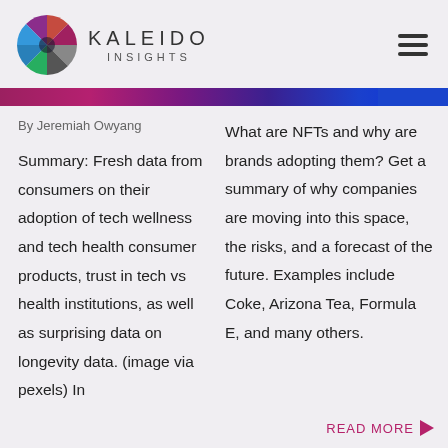KALEIDO INSIGHTS
By Jeremiah Owyang
Summary: Fresh data from consumers on their adoption of tech wellness and tech health consumer products, trust in tech vs health institutions, as well as surprising data on longevity data. (image via pexels) In
What are NFTs and why are brands adopting them? Get a summary of why companies are moving into this space, the risks, and a forecast of the future. Examples include Coke, Arizona Tea, Formula E, and many others.
READ MORE